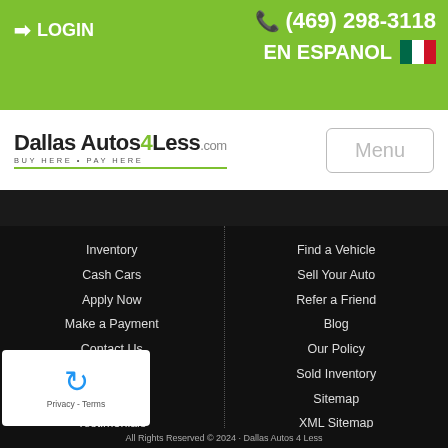LOGIN   (469) 298-3118   EN ESPANOL
[Figure (logo): Dallas Autos 4 Less .com logo with tagline BUY HERE • PAY HERE and green underline]
Menu
Inventory
Cash Cars
Apply Now
Make a Payment
Contact Us
Service
Locations
Testimonials
Write a Review
Find a Vehicle
Sell Your Auto
Refer a Friend
Blog
Our Policy
Sold Inventory
Sitemap
XML Sitemap
Nexus Links
All Rights Reserved © 2024 · Dallas Autos 4 Less